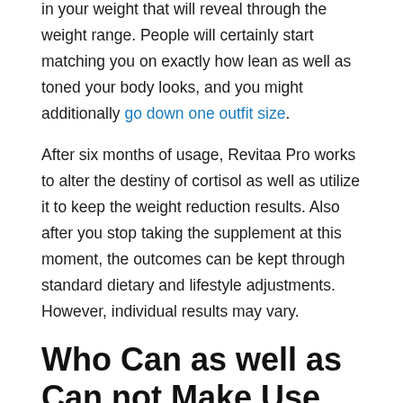in your weight that will reveal through the weight range. People will certainly start matching you on exactly how lean as well as toned your body looks, and you might additionally go down one outfit size.
After six months of usage, Revitaa Pro works to alter the destiny of cortisol as well as utilize it to keep the weight reduction results. Also after you stop taking the supplement at this moment, the outcomes can be kept through standard dietary and lifestyle adjustments. However, individual results may vary.
Who Can as well as Can not Make Use Of Revitaa Pro Weight Management Supplement?
Revita Pro appropriates for everyone that mores than 18 years of age as well as intends to drop weight. The components inside its formula are secure and also reliable for human beings, and also